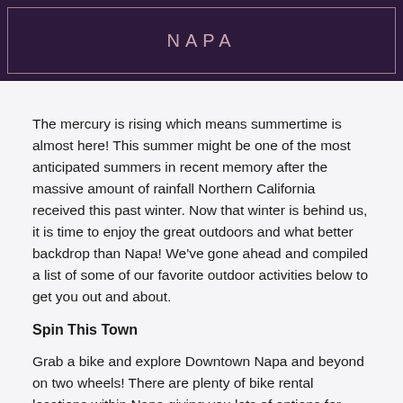NAPA
The mercury is rising which means summertime is almost here! This summer might be one of the most anticipated summers in recent memory after the massive amount of rainfall Northern California received this past winter. Now that winter is behind us, it is time to enjoy the great outdoors and what better backdrop than Napa! We've gone ahead and compiled a list of some of our favorite outdoor activities below to get you out and about.
Spin This Town
Grab a bike and explore Downtown Napa and beyond on two wheels! There are plenty of bike rental locations within Napa giving you lots of options for finding a bike that fits your needs and all the gear you'll need. One of